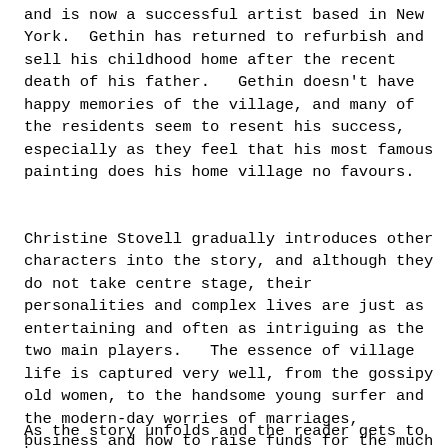and is now a successful artist based in New York.  Gethin has returned to refurbish and sell his childhood home after the recent death of his father.   Gethin doesn't have happy memories of the village, and many of the residents seem to resent his success, especially as they feel that his most famous painting does his home village no favours.
Christine Stovell gradually introduces other characters into the story, and although they do not take centre stage, their personalities and complex lives are just as entertaining and often as intriguing as the two main players.   The essence of village life is captured very well, from the gossipy old women, to the handsome young surfer and the modern-day worries of marriages, business and how to raise funds for the much needed new Community Centre.
As the story unfolds and the reader gets to know